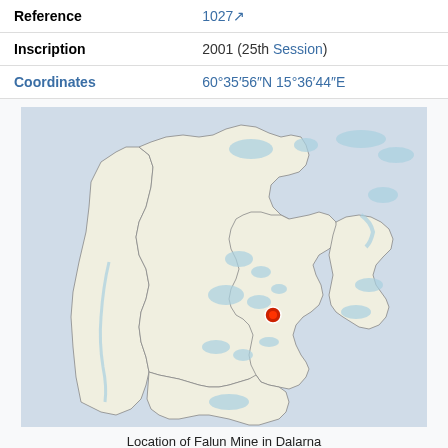| Reference | 1027 |
| Inscription | 2001 (25th Session) |
| Coordinates | 60°35′56″N 15°36′44″E |
[Figure (map): Map showing location of Falun Mine in Dalarna, Sweden. A red dot marks the location within the Dalarna region outline on a light beige background with blue water features.]
Location of Falun Mine in Dalarna
Show map of Dalarna
Show map of Sweden